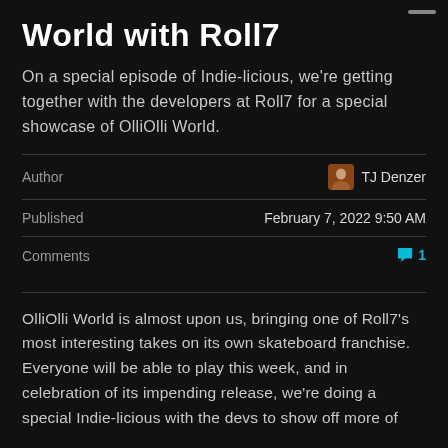World with Roll7
On a special episode of Indie-licious, we're getting together with the developers at Roll7 for a special showcase of OlliOlli World.
|  |  |
| --- | --- |
| Author | TJ Denzer |
| Published | February 7, 2022 9:50 AM |
| Comments | 1 |
OlliOlli World is almost upon us, bringing one of Roll7's most interesting takes on its own skateboard franchise. Everyone will be able to play this week, and in celebration of its impending release, we're doing a special Indie-licious with the devs to show off more of